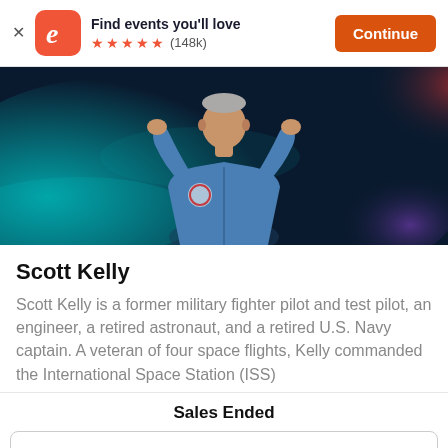Find events you'll love ★★★★★ (148k) Continue
[Figure (photo): A man in a blue NASA-style jacket gesturing with both hands raised, speaking on stage against a colorful space-themed backdrop with teal and red lighting.]
Scott Kelly
Scott Kelly is a former military fighter pilot and test pilot, an engineer, a retired astronaut, and a retired U.S. Navy captain. A veteran of four space flights, Kelly commanded the International Space Station (ISS)
Sales Ended
Details